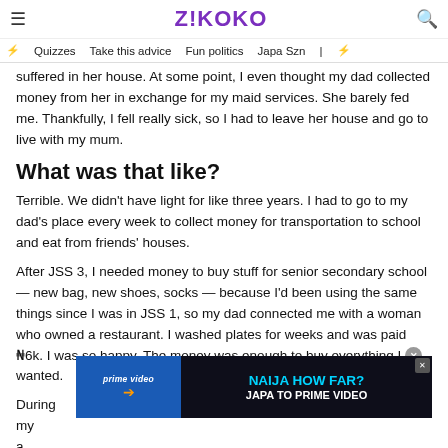Z!KOKO
Quizzes | Take this advice | Fun politics | Japa Szn
suffered in her house. At some point, I even thought my dad collected money from her in exchange for my maid services. She barely fed me. Thankfully, I fell really sick, so I had to leave her house and go to live with my mum.
What was that like?
Terrible. We didn't have light for like three years. I had to go to my dad's place every week to collect money for transportation to school and eat from friends' houses.
After JSS 3, I needed money to buy stuff for senior secondary school — new bag, new shoes, socks — because I'd been using the same things since I was in JSS 1, so my dad connected me with a woman who owned a restaurant. I washed plates for weeks and was paid ₦6k. I was so happy. The money was enough to buy everything I wanted.
During my ... s a secretary ... During
[Figure (screenshot): Amazon Prime Video advertisement banner: 'NAIJA HOW FAR? JAPA TO PRIME VIDEO']